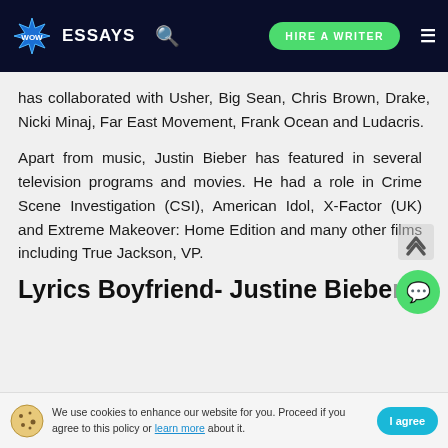WOW ESSAYS | HIRE A WRITER
has collaborated with Usher, Big Sean, Chris Brown, Drake, Nicki Minaj, Far East Movement, Frank Ocean and Ludacris.
Apart from music, Justin Bieber has featured in several television programs and movies. He had a role in Crime Scene Investigation (CSI), American Idol, X-Factor (UK) and Extreme Makeover: Home Edition and many other films including True Jackson, VP.
Lyrics Boyfriend- Justine Bieber
We use cookies to enhance our website for you. Proceed if you agree to this policy or learn more about it. | I agree